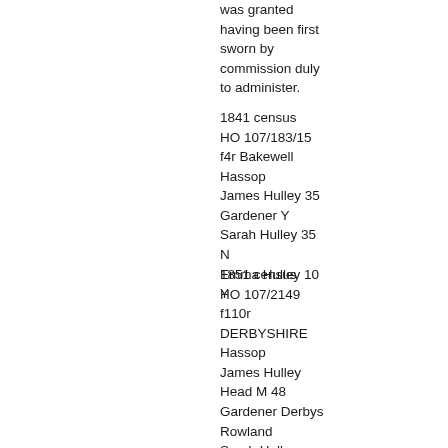was granted having been first sworn by commission duly to administer.
1841 census HO 107/183/15 f4r Bakewell Hassop James Hulley 35 Gardener Y Sarah Hulley 35 N Emma Hulley 10 Y
1851 census HO 107/2149 f110r DERBYSHIRE Hassop James Hulley Head M 48 Gardener Derbys Rowland Sarah Hulley Wife M 52 Notts Treaswell Emma Hulley Dau U 21 Derbys